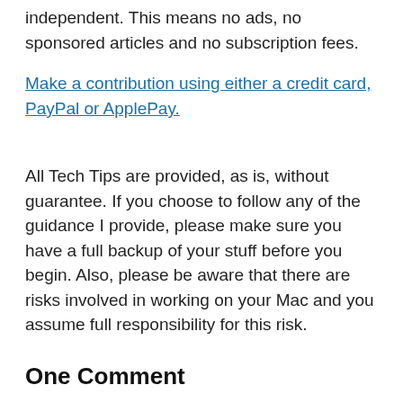independent. This means no ads, no sponsored articles and no subscription fees.
Make a contribution using either a credit card, PayPal or ApplePay.
All Tech Tips are provided, as is, without guarantee. If you choose to follow any of the guidance I provide, please make sure you have a full backup of your stuff before you begin. Also, please be aware that there are risks involved in working on your Mac and you assume full responsibility for this risk.
One Comment
Pingback: Data Recovery Using Stellar Phoenix